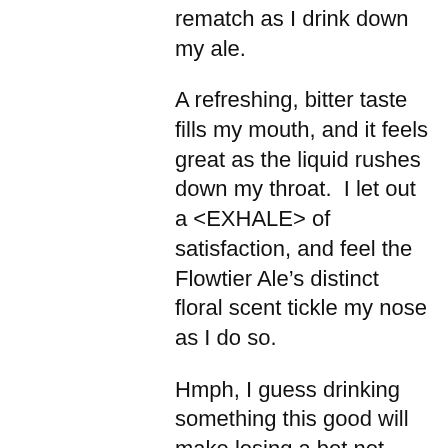rematch as I drink down my ale.
A refreshing, bitter taste fills my mouth, and it feels great as the liquid rushes down my throat.  I let out a <EXHALE> of satisfaction, and feel the Flowtier Ale’s distinct floral scent tickle my nose as I do so.
Hmph, I guess drinking something this good will make losing a bet not matter anymore.
Henry: “Lana, can I have a refill!”
Lana: “Okay”
And I ask Lana for another as she passes by.